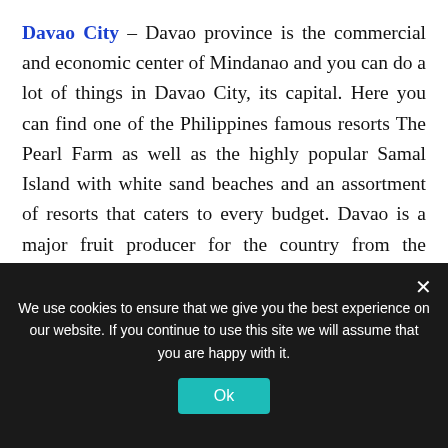Davao City – Davao province is the commercial and economic center of Mindanao and you can do a lot of things in Davao City, its capital. Here you can find one of the Philippines famous resorts The Pearl Farm as well as the highly popular Samal Island with white sand beaches and an assortment of resorts that caters to every budget. Davao is a major fruit producer for the country from the pungent smelling but tasty durian fruit to sweet sour pomelo to marang and export worthy bananas. Nightlight is bustling in Davao's Matina Square in downtown area. If you are interested in wildlife you will not be disappointed because there are many wildlife conservation centers
We use cookies to ensure that we give you the best experience on our website. If you continue to use this site we will assume that you are happy with it.